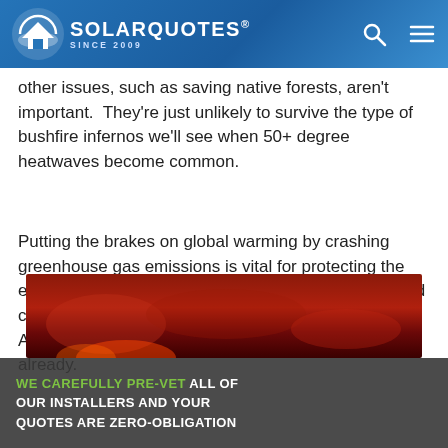SOLARQUOTES® SINCE 2009
other issues, such as saving native forests, aren't important.  They're just unlikely to survive the type of bushfire infernos we'll see when 50+ degree heatwaves become common.
Putting the brakes on global warming by crashing greenhouse gas emissions is vital for protecting the environment as a whole, as well as ensuring the world can feed itself.  In 2019 we hit 49.9 degrees in South Australia, so it's not as if things aren't hot enough already.
[Figure (photo): Dark red/orange smoke and fire scene, likely a bushfire image]
WE CAREFULLY PRE-VET ALL OF OUR INSTALLERS AND YOUR QUOTES ARE ZERO-OBLIGATION